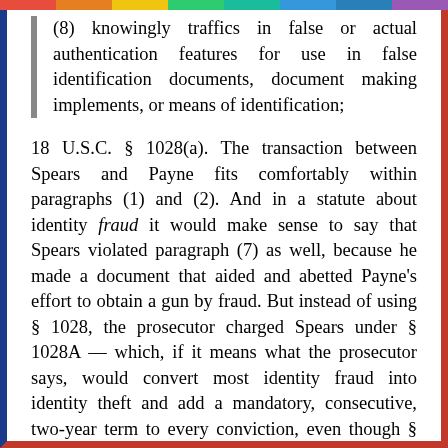(8) knowingly traffics in false or actual authentication features for use in false identification documents, document making implements, or means of identification;
18 U.S.C. § 1028(a). The transaction between Spears and Payne fits comfortably within paragraphs (1) and (2). And in a statute about identity fraud it would make sense to say that Spears violated paragraph (7) as well, because he made a document that aided and abetted Payne's effort to obtain a gun by fraud. But instead of using § 1028, the prosecutor charged Spears under § 1028A — which, if it means what the prosecutor says, would convert most identity fraud into identity theft and add a mandatory, consecutive, two-year term to every conviction, even though § 1028 lacks any equivalent sentencing provision.
Congress borrowed and modified the language of